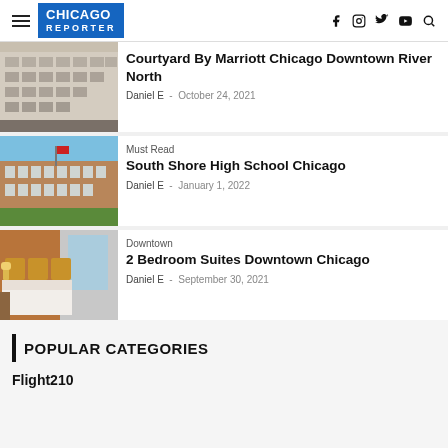Chicago Reporter
[Figure (photo): Exterior photo of Courtyard By Marriott Chicago Downtown River North building facade]
Courtyard By Marriott Chicago Downtown River North
Daniel E - October 24, 2021
[Figure (photo): Exterior photo of South Shore High School Chicago brick building with blue sky]
Must Read
South Shore High School Chicago
Daniel E - January 1, 2022
[Figure (photo): Interior hotel room photo showing bed and window for 2 Bedroom Suites Downtown Chicago]
Downtown
2 Bedroom Suites Downtown Chicago
Daniel E - September 30, 2021
POPULAR CATEGORIES
Flight210